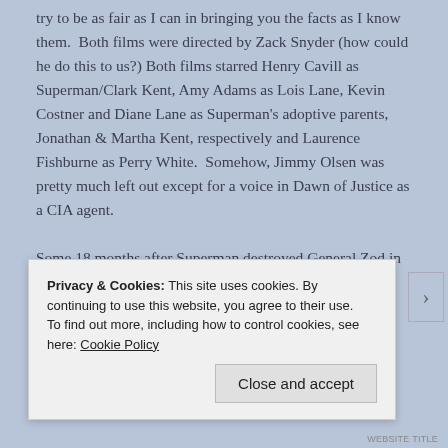try to be as fair as I can in bringing you the facts as I know them.  Both films were directed by Zack Snyder (how could he do this to us?) Both films starred Henry Cavill as Superman/Clark Kent, Amy Adams as Lois Lane, Kevin Costner and Diane Lane as Superman's adoptive parents, Jonathan & Martha Kent, respectively and Laurence Fishburne as Perry White.  Somehow, Jimmy Olsen was pretty much left out except for a voice in Dawn of Justice as a CIA agent.

Some 18 months after Superman destroyed General Zod in Man of Steel, he has moved in
[Figure (screenshot): Cookie consent banner with text about privacy & cookies policy, a link to Cookie Policy, and a Close and accept button.]
WEBSITE TITLE